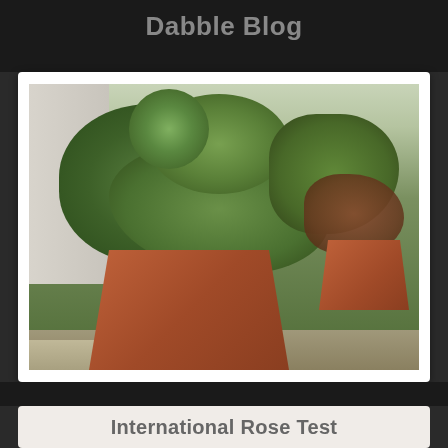Dabble Blog
[Figure (photo): Photograph of evergreen shrubs and pine plants growing in a large square terra cotta planter pot, with a second smaller pot visible behind it. Plants include juniper-like foliage and pine needle clusters. Setting is a paved outdoor area near a white column.]
International Rose Test